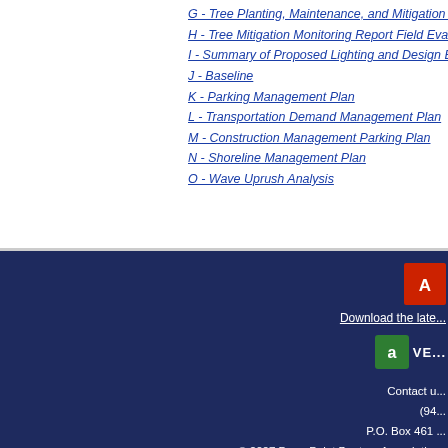G - Tree Planting, Maintenance, and Mitigation Mo...
H - Tree Mitigation Monitoring Report Field Evaluat...
I - Summary of Proposed Lighting and Design Elem...
J - Baseline
K - Parking Management Plan
L - Transportation Demand Management Plan
M - Construction Management Parking Plan
N - Shoreline Management Plan
O - Wave Uprush Analysis
[Figure (logo): Adobe PDF icon (red)]
Download the late...
[Figure (logo): VeriSign security badge (green icon with lock)]
Contact u... (94... P.O. Box 461 ... © 2007 Dana Point Boaters Association · Privacy Po... All documents, photographs, videos are cop...